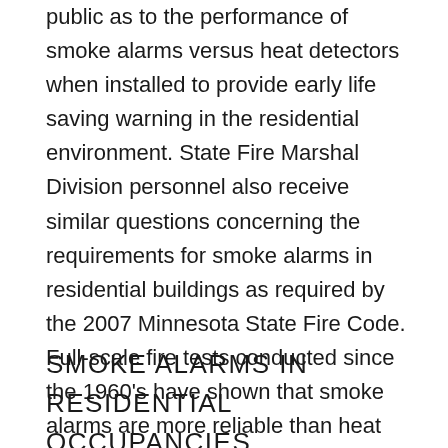public as to the performance of smoke alarms versus heat detectors when installed to provide early life saving warning in the residential environment. State Fire Marshal Division personnel also receive similar questions concerning the requirements for smoke alarms in residential buildings as required by the 2007 Minnesota State Fire Code. Full-scale fire tests conducted since the 1960's have shown that smoke alarms are more reliable than heat detectors for early warning to provide live safety in homes. In the January/February 1993 NFPA Journal, Bukowski summarizes 10 independent studies comprising over 200 experiments that prove this point.
SMOKE ALARMS IN RESIDENTIAL OCCUPANCIES